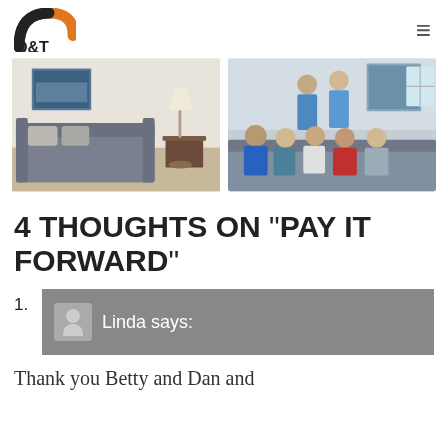D&T logo and navigation
[Figure (photo): Interior room photo showing a sofa, pillows, lamp, and side table]
[Figure (photo): Group photo of people sitting together on a sofa, some in medical scrubs]
4 THOUGHTS ON “PAY IT FORWARD”
1. Linda says:
Thank you Betty and Dan and